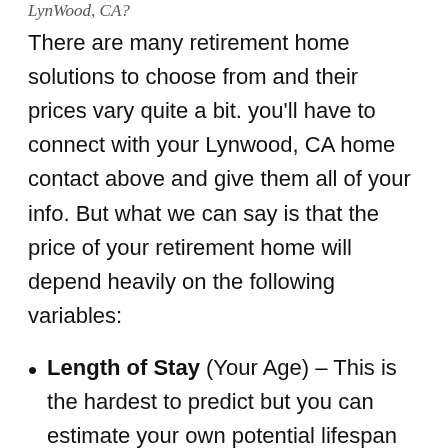LynWood, CA?
There are many retirement home solutions to choose from and their prices vary quite a bit. you'll have to connect with your Lynwood, CA home contact above and give them all of your info. But what we can say is that the price of your retirement home will depend heavily on the following variables:
Length of Stay (Your Age) – This is the hardest to predict but you can estimate your own potential lifespan given you and your family's medical history & national averages (78-82